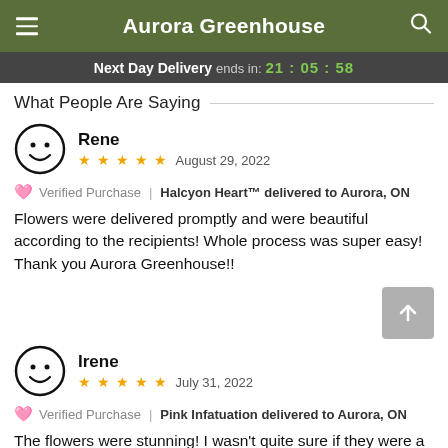Aurora Greenhouse
Next Day Delivery ends in: 21:05:58
What People Are Saying
Rene
★★★★★ August 29, 2022
Verified Purchase | Halcyon Heart™ delivered to Aurora, ON
Flowers were delivered promptly and were beautiful according to the recipients! Whole process was super easy! Thank you Aurora Greenhouse!!
Irene
★★★★★ July 31, 2022
Verified Purchase | Pink Infatuation delivered to Aurora, ON
The flowers were stunning! I wasn't quite sure if they were a